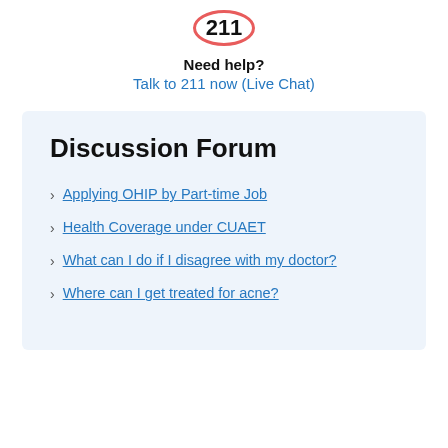[Figure (logo): 211 logo in a red oval/circle border]
Need help?
Talk to 211 now (Live Chat)
Discussion Forum
Applying OHIP by Part-time Job
Health Coverage under CUAET
What can I do if I disagree with my doctor?
Where can I get treated for acne?